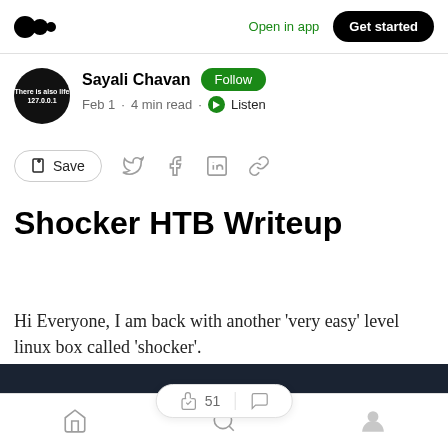Medium logo | Open in app | Get started
Sayali Chavan · Follow · Feb 1 · 4 min read · Listen
Save (share icons)
Shocker HTB Writeup
Hi Everyone, I am back with another 'very easy' level linux box called 'shocker'.
51 claps | comment icon | home | search | profile